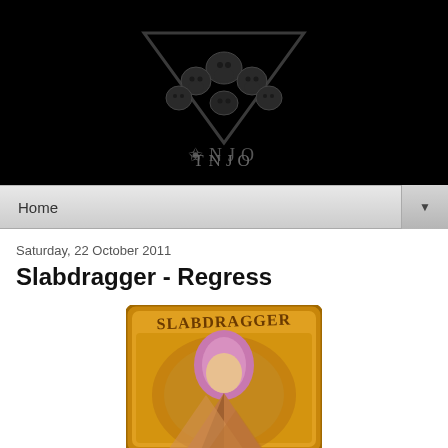[Figure (logo): TNIO blog header banner: black background with an inverted triangle containing skulls illustration, text 'TNJO' in gothic/blackletter font below]
Home ▼
Saturday, 22 October 2011
Slabdragger - Regress
[Figure (illustration): Album cover art for Slabdragger - Regress: yellow/gold border with rounded corners, 'SLABDRAGGER' text in stylized brown lettering at top, illustrated figure with purple/pink hair and geometric shapes below]